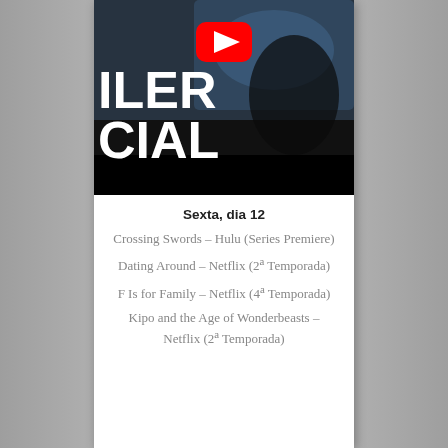[Figure (screenshot): YouTube video thumbnail showing a dark scene with text 'ILER' and 'CIAL' (partial words from TRAILER OFICIAL) in white bold letters on left side, and a YouTube play button icon at top center. Dark cinematic image.]
Sexta, dia 12
Crossing Swords – Hulu (Series Premiere)
Dating Around – Netflix (2ª Temporada)
F Is for Family – Netflix (4ª Temporada)
Kipo and the Age of Wonderbeasts – Netflix (2ª Temporada)